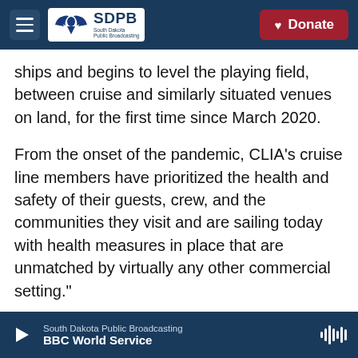SDPB South Dakota Public Broadcasting | Donate
ships and begins to level the playing field, between cruise and similarly situated venues on land, for the first time since March 2020.
From the onset of the pandemic, CLIA's cruise line members have prioritized the health and safety of their guests, crew, and the communities they visit and are sailing today with health measures in place that are unmatched by virtually any other commercial setting."
The CDC emphasizes that travelers should make sure they're up to date with their COVID-19
South Dakota Public Broadcasting | BBC World Service